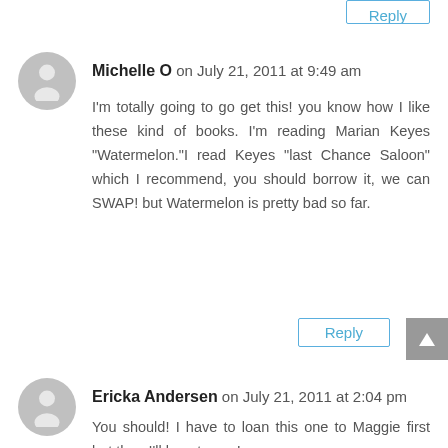Michelle O on July 21, 2011 at 9:49 am
I'm totally going to go get this! you know how I like these kind of books. I'm reading Marian Keyes "Watermelon."I read Keyes "last Chance Saloon" which I recommend, you should borrow it, we can SWAP! but Watermelon is pretty bad so far.
Reply
Ericka Andersen on July 21, 2011 at 2:04 pm
You should! I have to loan this one to Maggie first but then I'll loan to you!